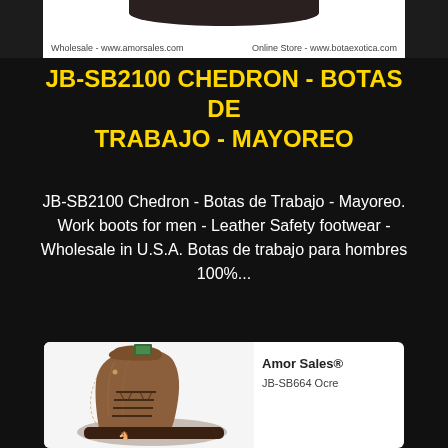[Figure (photo): Top portion of a black background product page showing bottom of a boot and website watermarks for www.amorsales.com and www.botaexotica.com]
JB-SB2100 CHEDRON - BOTAS DE TRABAJO - MAYOREO
JB-SB2100 Chedron - Botas de Trabajo - Mayoreo. Work boots for men - Leather Safety footwear - Wholesale in U.S.A. Botas de trabajo para hombres 100%...
[Figure (photo): White card showing brown leather work boot (JB-SB664 Ocre) by Amor Sales, laced up with decorative stitching, on a white background]
Amor Sales®
JB-SB664 Ocre